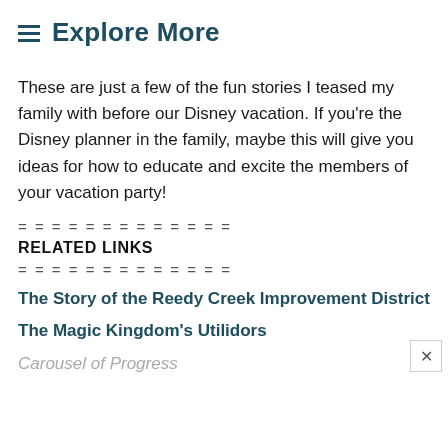Explore More
These are just a few of the fun stories I teased my family with before our Disney vacation. If you're the Disney planner in the family, maybe this will give you ideas for how to educate and excite the members of your vacation party!
RELATED LINKS
The Story of the Reedy Creek Improvement District
The Magic Kingdom's Utilidors
Carousel of Progress